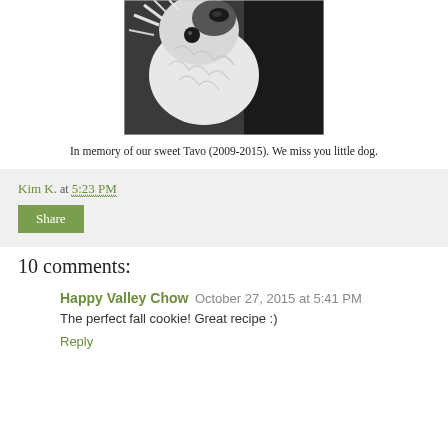[Figure (photo): Black and white close-up photo of a fluffy dog (Tavo) looking up, with white and dark fur, against a dark sweater background]
In memory of our sweet Tavo (2009-2015).  We miss you little dog.
Kim K. at 5:23 PM
Share
10 comments:
Happy Valley Chow October 27, 2015 at 5:41 PM
The perfect fall cookie! Great recipe :)
Reply